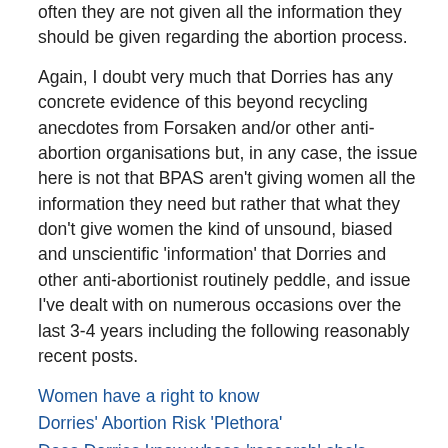often they are not given all the information they should be given regarding the abortion process.
Again, I doubt very much that Dorries has any concrete evidence of this beyond recycling anecdotes from Forsaken and/or other anti-abortion organisations but, in any case, the issue here is not that BPAS aren't giving women all the information they need but rather that what they don't give women the kind of unsound, biased and unscientific 'information' that Dorries and other anti-abortionist routinely peddle, and issue I've dealt with on numerous occasions over the last 3-4 years including the following reasonably recent posts.
Women have a right to know
Dorries' Abortion Risk 'Plethora'
Does Dorries know whose 'research' she's promoting?
Colemanballs – a study in bad abortion science
Mad Mel, Abortion and the Liars for Jeebus Club
Dorries' amendments blown apart by RCPsych review